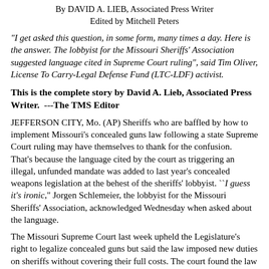By DAVID A. LIEB, Associated Press Writer
Edited by Mitchell Peters
“I get asked this question, in some form, many times a day. Here is the answer. The lobbyist for the Missouri Sheriffs’ Association suggested language cited in Supreme Court ruling”, said Tim Oliver, License To Carry-Legal Defense Fund (LTC-LDF) activist.
This is the complete story by David A. Lieb, Associated Press Writer.  ---The TMS Editor
JEFFERSON CITY, Mo. (AP) Sheriffs who are baffled by how to implement Missouri's concealed guns law following a state Supreme Court ruling may have themselves to thank for the confusion.
That's because the language cited by the court as triggering an illegal, unfunded mandate was added to last year’s concealed weapons legislation at the behest of the sheriffs’ lobbyist. ``I guess it’s ironic,” Jorgen Schlemeier, the lobbyist for the Missouri Sheriffs’ Association, acknowledged Wednesday when asked about the language.
The Missouri Supreme Court last week upheld the Legislature's right to legalize concealed guns but said the law imposed new duties on sheriffs without covering their full costs. The court found the law therefore violated the so-called Hancock Amendment to the Missouri Constitution. As such, the court said four counties that presented trial evidence about costs did not have to implement the law. But the court essentially laid out a roadmap for